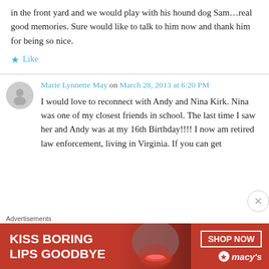in the front yard and we would play with his hound dog Sam…real good memories. Sure would like to talk to him now and thank him for being so nice.
★ Like
Marie Lynnette May on March 28, 2013 at 6:20 PM
I would love to reconnect with Andy and Nina Kirk. Nina was one of my closest friends in school. The last time I saw her and Andy was at my 16th Birthday!!!! I now am retired law enforcement, living in Virginia. If you can get
Advertisements
[Figure (other): Macy's advertisement banner: KISS BORING LIPS GOODBYE with SHOP NOW button and Macy's star logo, red background with woman's face]